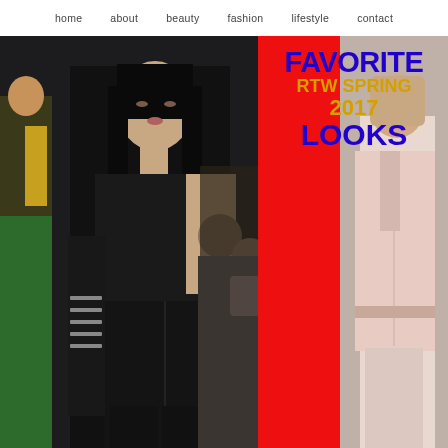home   about   beauty   fashion   lifestyle   contact
[Figure (photo): Fashion runway photo collage: left panel shows a model wearing a black velvet one-shoulder jumpsuit with long black glove walking the runway, background models in green and yellow; right partial panel shows a model in pale pink/blush outfit]
FAVORITE RTW SPRING 2017 LOOKS